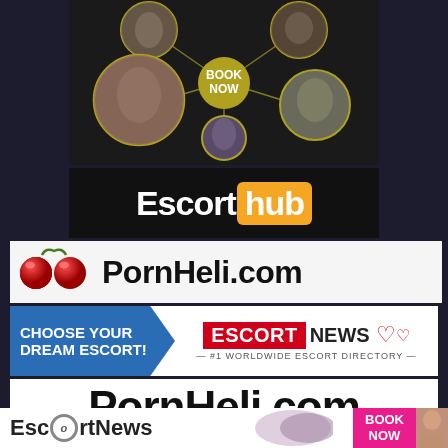[Figure (photo): Top escort booking collage with multiple circular portrait photos arranged in a network pattern with a gold 'BOOK NOW' badge in the center, on dark background]
[Figure (logo): Escorthub logo — white text 'Escort' followed by 'hub' in white text on an orange rounded rectangle badge, on black background]
[Figure (logo): PornHeli.com logo with two red cherries on left and bold black text 'PornHeli.com' on light grey/white background]
[Figure (logo): EscortNews banner ad: left blue arrow panel with white bold text 'CHOOSE YOUR DREAM ESCORT!', right side shows red badge 'ESCORT' + grey 'NEWS' with heart icons and subline '#1 WORLDWIDE ESCORT DIRECTORY']
[Figure (logo): Large bold black text 'PornHeli.com' on white background]
[Figure (logo): Bottom banner: EscortNews logo on white background with swirl design, pink 'BOOK NOW' button on right, partial photo of woman on far right]